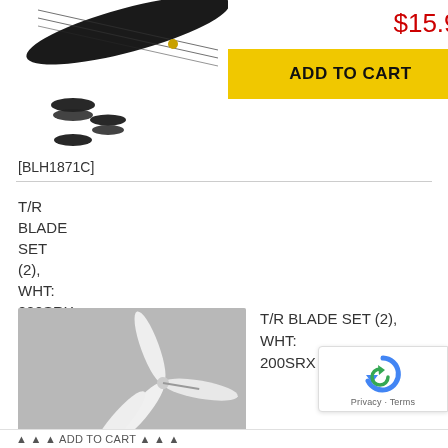[Figure (photo): Carbon fiber main rotor blade set with washers/hardware on white background, partially cropped at top]
$15.99
ADD TO CART
[BLH1871C]
T/R BLADE SET (2), WHT: 200SRX
[Figure (photo): Two white 3-blade tail rotor propellers with small screws and washers on grey background]
$3.99
[BLH2021]
OUT OF STOCK